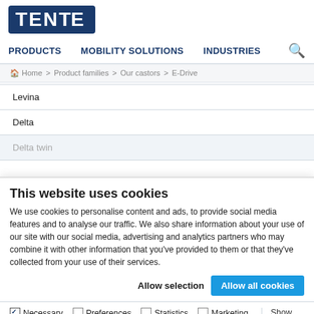[Figure (logo): TENTE logo — white text on dark blue rounded rectangle background]
PRODUCTS   MOBILITY SOLUTIONS   INDUSTRIES   [search icon]
Home > Product families > Our castors > E-Drive
Levina
Delta
Delta twin
This website uses cookies
We use cookies to personalise content and ads, to provide social media features and to analyse our traffic. We also share information about your use of our site with our social media, advertising and analytics partners who may combine it with other information that you've provided to them or that they've collected from your use of their services.
Allow selection    Allow all cookies
✓ Necessary   □ Preferences   □ Statistics   □ Marketing   Show details ▾